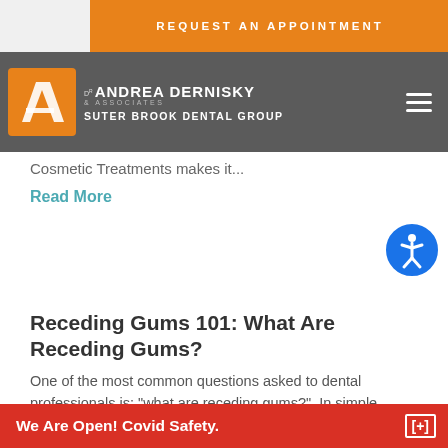REQUEST AN APPOINTMENT
[Figure (logo): Dr. Andrea Dernisky & Associates – Suter Brook Dental Group logo with orange stylized 'a' icon on dark grey navigation bar]
Cosmetic Treatments makes it...
Read More
Receding Gums 101: What Are Receding Gums?
One of the most common questions asked to dental professionals is: "what are receding gums?". In simple terms, receding...
Read More
We Are Open! Covid Safety.